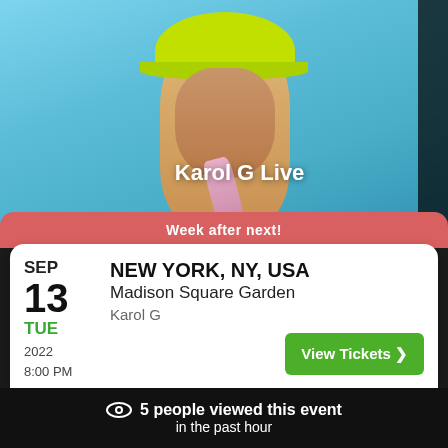[Figure (photo): Photo of Karol G performing live, wearing a neon yellow-green cap, holding a microphone, with a blue background. Text overlay reads 'Karol G Live']
Week after next!
NEW YORK, NY, USA
Madison Square Garden
Karol G
SEP
13
TUE
2022
8:00 PM
View Tickets ❯
Last Date! ℹ
This event is selling fast for Karol G on our site ℹ
5 people viewed this event in the past hour